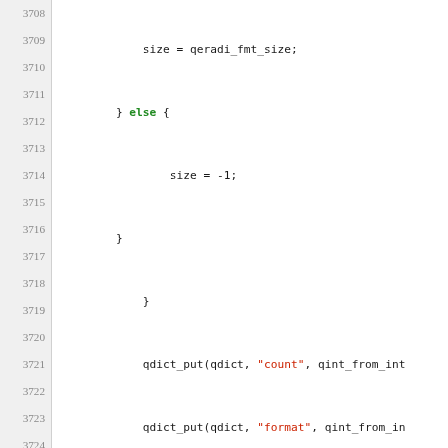[Figure (screenshot): Source code viewer showing C code lines 3708-3733 with line numbers on the left, syntax highlighting: keywords in green/bold, string literals in red, plain code in dark/black. Background is white with a light gray line number gutter.]